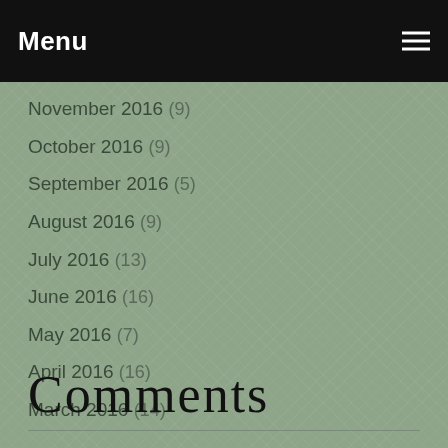Menu
November 2016 (9)
October 2016 (9)
September 2016 (5)
August 2016 (9)
July 2016 (13)
June 2016 (16)
May 2016 (7)
April 2016 (16)
March 2016 (14)
Comments
There are currently no blog comments.